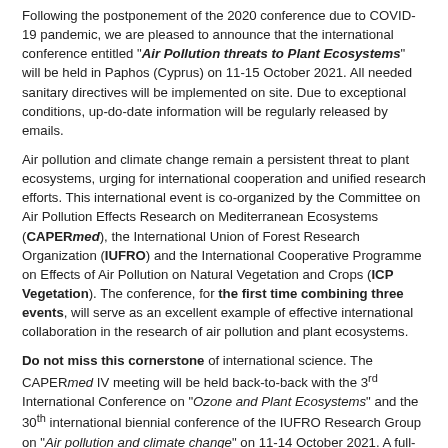Following the postponement of the 2020 conference due to COVID-19 pandemic, we are pleased to announce that the international conference entitled "Air Pollution threats to Plant Ecosystems" will be held in Paphos (Cyprus) on 11-15 October 2021. All needed sanitary directives will be implemented on site. Due to exceptional conditions, up-do-date information will be regularly released by emails.
Air pollution and climate change remain a persistent threat to plant ecosystems, urging for international cooperation and unified research efforts. This international event is co-organized by the Committee on Air Pollution Effects Research on Mediterranean Ecosystems (CAPERmed), the International Union of Forest Research Organization (IUFRO) and the International Cooperative Programme on Effects of Air Pollution on Natural Vegetation and Crops (ICP Vegetation). The conference, for the first time combining three events, will serve as an excellent example of effective international collaboration in the research of air pollution and plant ecosystems.
Do not miss this cornerstone of international science. The CAPERmed IV meeting will be held back-to-back with the 3rd International Conference on "Ozone and Plant Ecosystems" and the 30th international biennial conference of the IUFRO Research Group on "Air pollution and climate change" on 11-14 October 2021. A full-day excursion is planned on 15 October 2021.